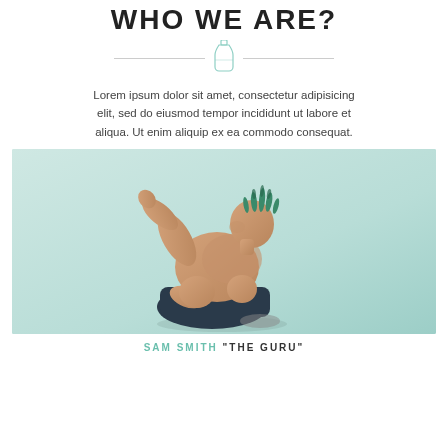WHO WE ARE?
[Figure (illustration): Decorative divider with a small bottle/flask icon centered between two horizontal lines]
Lorem ipsum dolor sit amet, consectetur adipisicing elit, sed do eiusmod tempor incididunt ut labore et aliqua. Ut enim aliquip ex ea commodo consequat.
[Figure (photo): A muscular man with a green mohawk hairstyle crouching/sitting in a yoga-like pose on a light teal/mint background, shirtless wearing dark shorts]
SAM SMITH "THE GURU"